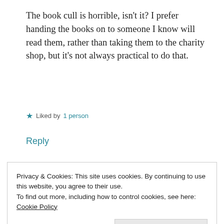The book cull is horrible, isn't it? I prefer handing the books on to someone I know will read them, rather than taking them to the charity shop, but it's not always practical to do that.
★ Liked by 1 person
Reply
SUE VINCENT
Privacy & Cookies: This site uses cookies. By continuing to use this website, you agree to their use.
To find out more, including how to control cookies, see here: Cookie Policy
Close and accept
have